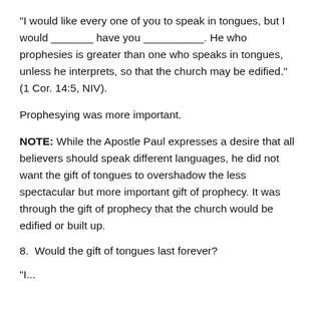"I would like every one of you to speak in tongues, but I would _______ have you __________. He who prophesies is greater than one who speaks in tongues, unless he interprets, so that the church may be edified." (1 Cor. 14:5, NIV).
Prophesying was more important.
NOTE: While the Apostle Paul expresses a desire that all believers should speak different languages, he did not want the gift of tongues to overshadow the less spectacular but more important gift of prophecy. It was through the gift of prophecy that the church would be edified or built up.
8.  Would the gift of tongues last forever?
"L...